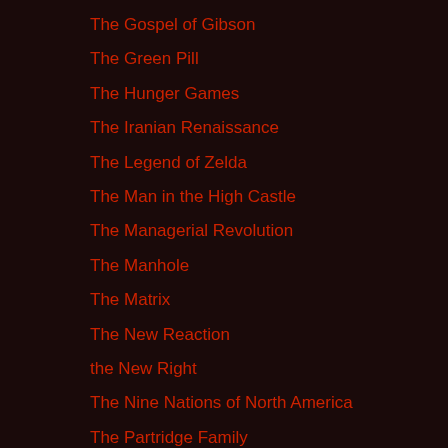The Gospel of Gibson
The Green Pill
The Hunger Games
The Iranian Renaissance
The Legend of Zelda
The Man in the High Castle
The Managerial Revolution
The Manhole
The Matrix
The New Reaction
the New Right
The Nine Nations of North America
The Partridge Family
The Partridge Family Temple
The Perfume Nationalist